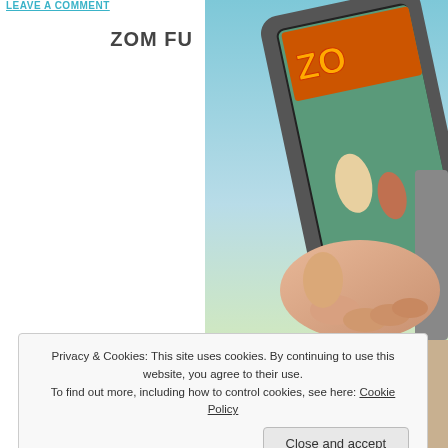LEAVE A COMMENT
ZOM FU
[Figure (photo): A hand holding a tablet device displaying the cover of a book or game titled 'ZOM FU', featuring fantastical illustrated characters including a wizard and a warrior against a dramatic sky background.]
Privacy & Cookies: This site uses cookies. By continuing to use this website, you agree to their use.
To find out more, including how to control cookies, see here: Cookie Policy
Close and accept